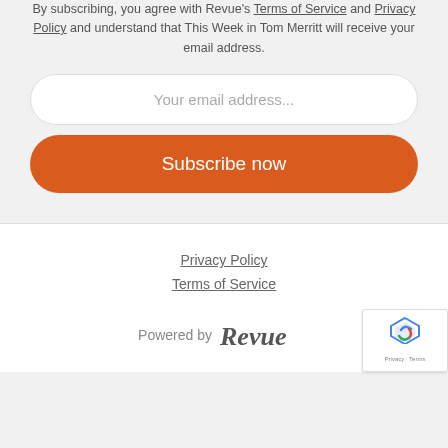By subscribing, you agree with Revue's Terms of Service and Privacy Policy and understand that This Week in Tom Merritt will receive your email address.
Your email address...
Subscribe now
Privacy Policy
Terms of Service
Powered by Revue